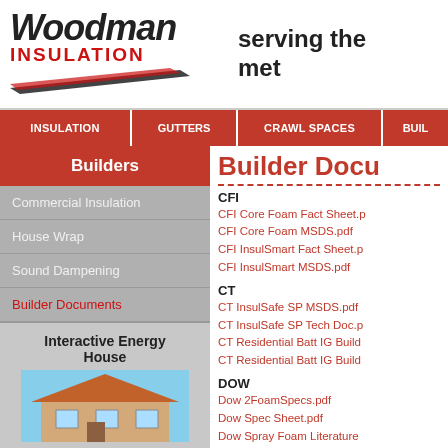[Figure (logo): Woodman Insulation logo with italic bold text and red INSULATION subtitle with swoosh graphic]
serving the met
INSULATION
GUTTERS
CRAWL SPACES
BUIL
Builders
Commercial Insulation
House Wrap
Sound Dampening
Builder Documents
Builder Docu
CFI
CFI Core Foam Fact Sheet.p
CFI Core Foam MSDS.pdf
CFI InsulSmart Fact Sheet.p
CFI InsulSmart MSDS.pdf
CT
CT InsulSafe SP MSDS.pdf
CT InsulSafe SP Tech Doc.p
CT Residential Batt IG Build
CT Residential Batt IG Build
DOW
Dow 2FoamSpecs.pdf
Dow Spec Sheet.pdf
Dow Spray Foam Literature
Interactive Energy House
[Figure (photo): Photo of a house exterior with orange/brown roof]